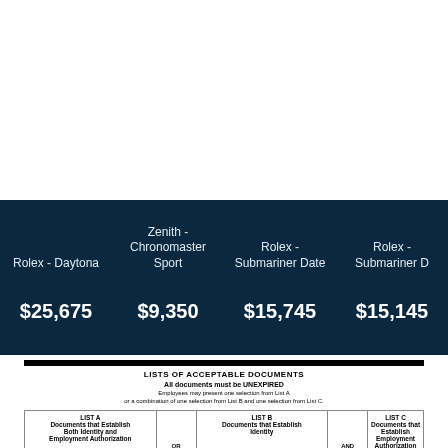| Model | Price |
| --- | --- |
| Rolex - Daytona | $25,675 |
| Zenith - Chronomaster Sport | $9,350 |
| Rolex - Submariner Date | $15,745 |
| Rolex - Submariner D | $15,145 |
LISTS OF ACCEPTABLE DOCUMENTS
All documents must be UNEXPIRED
Employees may present one selection from List A or a combination of one selection from List B and one selection from List C.
| LIST A
Documents that Establish Both Identity and Employment Authorization | OR | LIST B
Documents that Establish Identity | AND | LIST C
Documents that Establish Employment Authorization |
| --- | --- | --- | --- | --- |
| 1. U.S. Passport or U.S. Passport Card
2. Permanent Resident Card or Alien Registration Receipt Card (Form I-551)
3. Foreign passport that contains a temporary I-551 stamp or temporary I-551 printed notation on a machine-readable immigrant visa | 1. Driver's license or ID card issued by a State or outlying possession of the United States provided it contains a photograph or information such as name, date of birth, gender, height, eye color, and address
2. ID card issued by federal, state or local government agencies or entities... | 1. A Social Security Account Number card, unless the card includes one of the following restrictions:
(1) NOT VALID FOR EMPLOYMENT
(2) VALID FOR WORK ONLY WITH INS AUTHORIZATION
(3) VALID FOR WORK ONLY WITH |